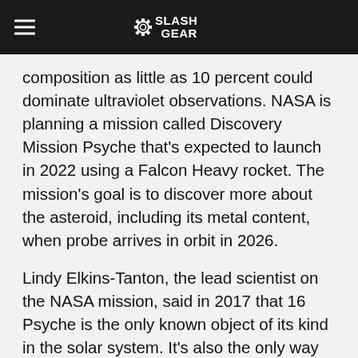SlashGear
composition as little as 10 percent could dominate ultraviolet observations. NASA is planning a mission called Discovery Mission Psyche that's expected to launch in 2022 using a Falcon Heavy rocket. The mission's goal is to discover more about the asteroid, including its metal content, when probe arrives in orbit in 2026.
Lindy Elkins-Tanton, the lead scientist on the NASA mission, said in 2017 that 16 Psyche is the only known object of its kind in the solar system. It's also the only way humans will ever visit a planetary core. She said that scientists could learn about inner space by visiting outer space as the asteroid is believed to be the core of a planet that failed during the early formation of the